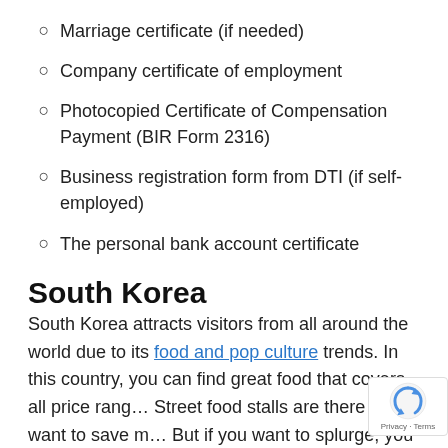Marriage certificate (if needed)
Company certificate of employment
Photocopied Certificate of Compensation Payment (BIR Form 2316)
Business registration form from DTI (if self-employed)
The personal bank account certificate
South Korea
South Korea attracts visitors from all around the world due to its food and pop culture trends. In this country, you can find great food that covers all price rang... Street food stalls are there if you want to save m... But if you want to splurge, you can go to high-end...